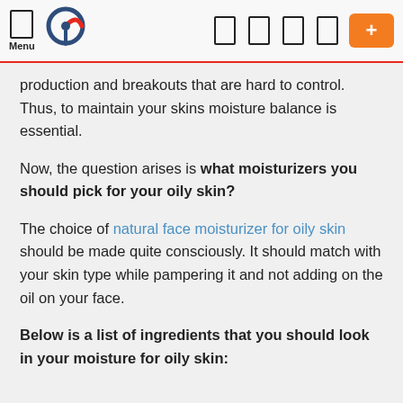Menu [nav icons] [+]
production and breakouts that are hard to control. Thus, to maintain your skins moisture balance is essential.
Now, the question arises is what moisturizers you should pick for your oily skin?
The choice of natural face moisturizer for oily skin should be made quite consciously. It should match with your skin type while pampering it and not adding on the oil on your face.
Below is a list of ingredients that you should look in your moisture for oily skin: